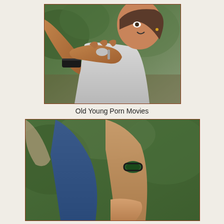[Figure (photo): Close-up photograph showing a person in a white t-shirt being grabbed by the neck/throat by another person wearing a black leather wristband, outdoors with green foliage in background.]
Old Young Porn Movies
[Figure (photo): Close-up photograph showing legs and feet of people outdoors, one person wearing blue jeans, with green foliage in background.]